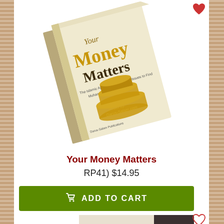[Figure (photo): Book cover of 'Your Money Matters' tilted at an angle, showing gold coins on the cover, with watermark text 'Photo by Darus-Salam.com']
Your Money Matters
RP41) $14.95
ADD TO CART
[Figure (photo): Partial view of a second book at the bottom of the page, showing an open book with a dark cover]